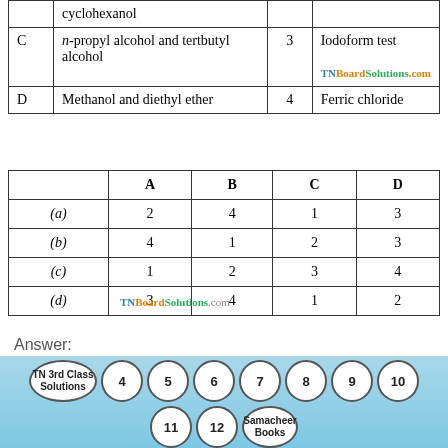|  |  |  |  |
| --- | --- | --- | --- |
|  | cyclohexanol |  |  |
| C | n-propyl alcohol and tertbutyl alcohol | 3 | Iodoform test |
| D | Methanol and diethyl ether | 4 | Ferric chloride |
|  | A | B | C | D |
| --- | --- | --- | --- | --- |
| (a) | 2 | 4 | 1 | 3 |
| (b) | 4 | 1 | 2 | 3 |
| (c) | 1 | 2 | 3 | 4 |
| (d) | 3 | 4 | 1 | 2 |
Answer:
(d)
TN 3rd Class Solutions | 4 | 5 | 6 | 7 | 8 | 9 | 10 | 11 | 12 | Samacheer Books